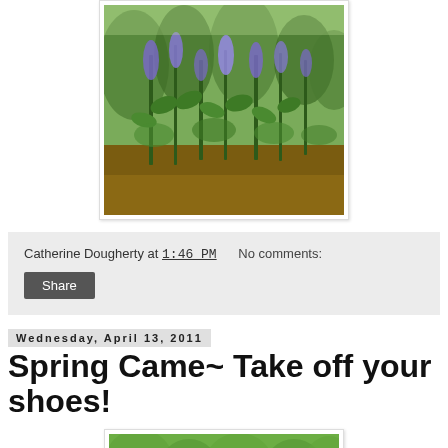[Figure (photo): Photograph of garden plants with purple-blue flowering sage or similar herb plants with green foliage, taken outdoors in bright sunlight]
Catherine Dougherty at 1:46 PM    No comments:
Share
Wednesday, April 13, 2011
Spring Came~ Take off your shoes!
[Figure (photo): Partial photograph of outdoor scene, trees and greenery visible at bottom of page]